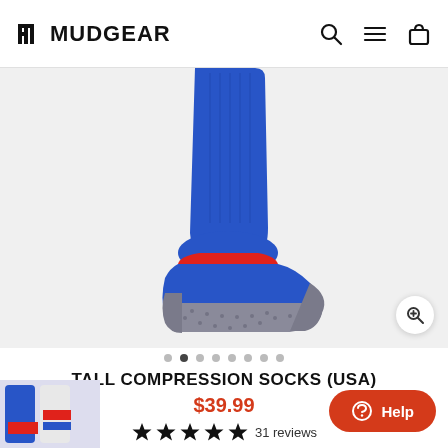MUDGEAR
[Figure (photo): Blue compression sock worn on a foot/leg, with red stripe and MUDGEAR branding, gray sole, on white/light gray background]
TALL COMPRESSION SOCKS (USA)
$39.99
★★★★★ 31 reviews